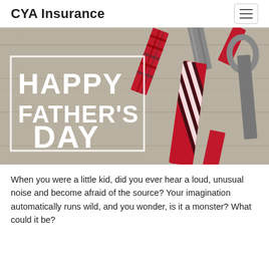CYA Insurance
[Figure (photo): Photo of multiple neckties (red plaid, grey, red striped) laid out on a rustic wooden surface, with a white-bordered text overlay reading HAPPY FATHER'S DAY]
When you were a little kid, did you ever hear a loud, unusual noise and become afraid of the source? Your imagination automatically runs wild, and you wonder, is it a monster? What could it be?